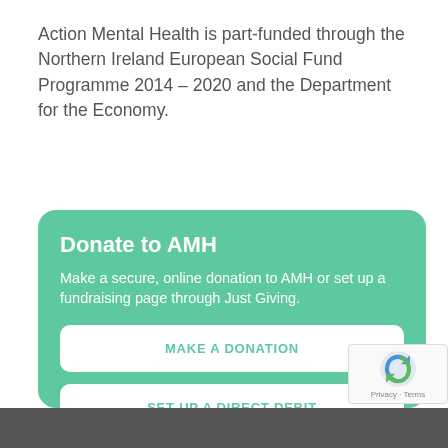Action Mental Health is part-funded through the Northern Ireland European Social Fund Programme 2014 – 2020 and the Department for the Economy.
Donate to AMH
Make a secure, online donation to AMH or set up a fundraising page through Just Giving.
MAKE A DONATION
SET UP A DIRECT DEBIT
SET UP A JUSTGIVING FUNDRAISING PAGE